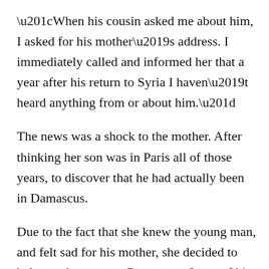“When his cousin asked me about him, I asked for his mother’s address. I immediately called and informed her that a year after his return to Syria I haven’t heard anything from or about him.”
The news was a shock to the mother. After thinking her son was in Paris all of those years, to discover that he had actually been in Damascus.
Due to the fact that she knew the young man, and felt sad for his mother, she decided to help, so she came to Damascus. Some of his Syrian friends in Paris also volunteered to help out his